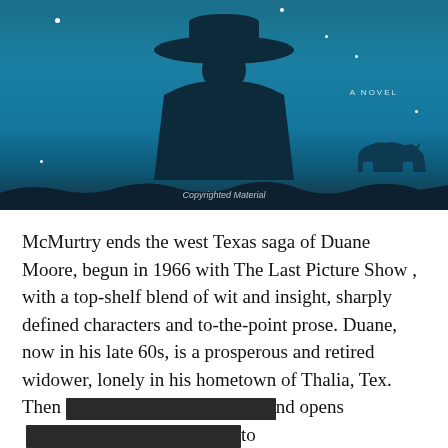[Figure (illustration): Book cover image showing silhouette of a person wearing a cowboy hat viewed from behind, against a teal/blue night sky with stars. A rhinoceros silhouette is visible in the lower right. Text 'A NOVEL' appears on the right side. 'Copyrighted Material' watermark at the bottom.]
McMurtry ends the west Texas saga of Duane Moore, begun in 1966 with The Last Picture Show , with a top-shelf blend of wit and insight, sharply defined characters and to-the-point prose. Duane, now in his late 60s, is a prosperous and retired widower, lonely in his hometown of Thalia, Tex. Then [redacted] nd opens [redacted] to